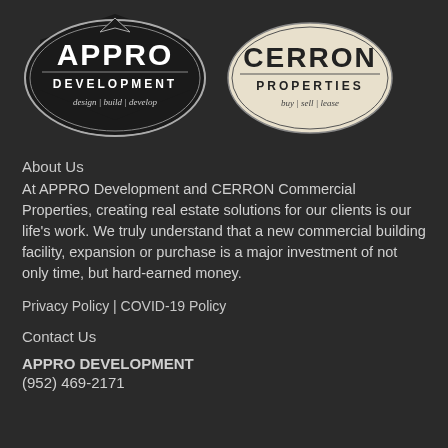[Figure (logo): APPRO Development logo — black shield/oval shape with 'APPRO' in large white letters, 'DEVELOPMENT' below, and 'design | build | develop' in italic script at bottom]
[Figure (logo): CERRON Properties logo — beige/cream oval shape with 'CERRON' in large black letters, 'PROPERTIES' below, and 'buy | sell | lease' in italic script at bottom]
About Us
At APPRO Development and CERRON Commercial Properties, creating real estate solutions for our clients is our life's work. We truly understand that a new commercial building facility, expansion or purchase is a major investment of not only time, but hard-earned money.
Privacy Policy | COVID-19 Policy
Contact Us
APPRO DEVELOPMENT
(952) 469-2171